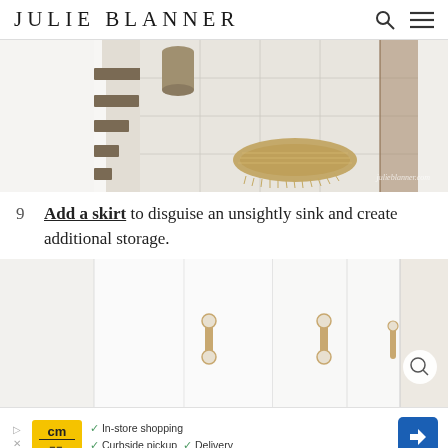JULIE BLANNER
[Figure (photo): Interior entryway with white tile floor, wooden staircase steps visible on left, a jute/rope mat in center, and wood flooring visible at right. Watermark reads julieblanner.com]
9  Add a skirt to disguise an unsightly sink and create additional storage.
[Figure (photo): White cabinet doors with gold/brass handles, likely a sink skirt or cabinet storage. Magnify icon visible at bottom right.]
[Figure (other): Advertisement banner: Curbside Market (cm logo in yellow) - In-store shopping, Curbside pickup, Delivery. Blue navigation arrow icon on right.]